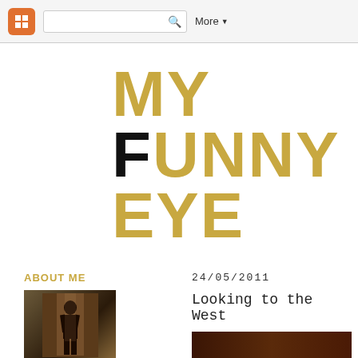Blogger navbar with search and More button
MY FUNNY EYE
ABOUT ME
[Figure (photo): Small portrait photo of a person silhouette in doorway with warm light]
24/05/2011
Looking to the West
[Figure (photo): Dark brown/reddish partial image at bottom right]